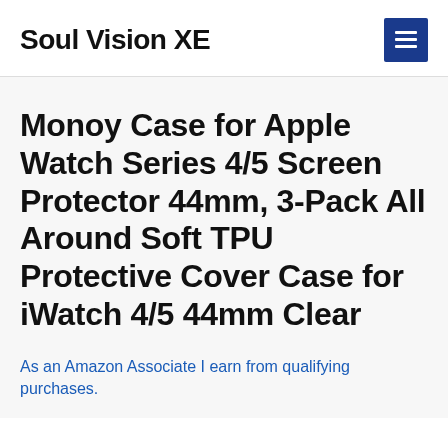Soul Vision XE
Monoy Case for Apple Watch Series 4/5 Screen Protector 44mm, 3-Pack All Around Soft TPU Protective Cover Case for iWatch 4/5 44mm Clear
As an Amazon Associate I earn from qualifying purchases.